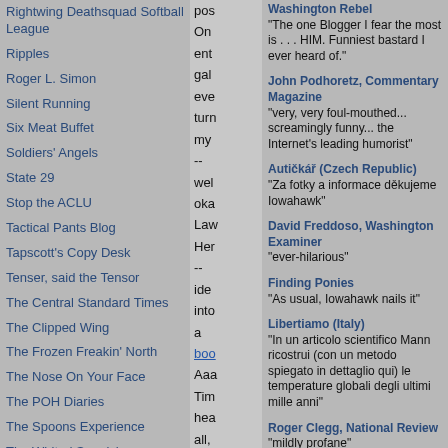Rightwing Deathsquad Softball League
Ripples
Roger L. Simon
Silent Running
Six Meat Buffet
Soldiers' Angels
State 29
Stop the ACLU
Tactical Pants Blog
Tapscott's Copy Desk
Tenser, said the Tensor
The Central Standard Times
The Clipped Wing
The Frozen Freakin' North
The Nose On Your Face
The POH Diaries
The Spoons Experience
The Whited Sepulchre
This Ain't Hell
This is the Jam
TigerHawk
Tinkerty Tonk
pos
On
ent
gal
eve
turn
my
--
wel
oka
Law
Her
--
ide
into
a
boo
Aaa
Tim
hea
all,
the
say
and
Washington Rebel
"The one Blogger I fear the most is . . . HIM. Funniest bastard I ever heard of."
John Podhoretz, Commentary Magazine
"very, very foul-mouthed... screamingly funny... the Internet's leading humorist"
Autičkář (Czech Republic)
"Za fotky a informace děkujeme Iowahawk"
David Freddoso, Washington Examiner
"ever-hilarious"
Finding Ponies
"As usual, Iowahawk nails it"
Libertiamo (Italy)
"In un articolo scientifico Mann ricostrui (con un metodo spiegato in dettaglio qui) le temperature globali degli ultimi mille anni"
Roger Clegg, National Review
"mildly profane"
Ça m'intéresse (France)
"La pièce fait partie d'un lot d'anciens outils de ferme tous plus étranges et biscornus les uns que les autres à voir ici"
In the Crosshairs
"I only wish this guy didn't have to work a regular job"
Andrew Ian Dodge (Canada)
"God help us all if he ever discovers steroids"